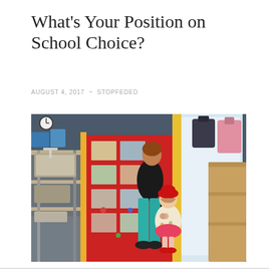What's Your Position on School Choice?
AUGUST 4, 2017 ~ STOPFEDED
[Figure (photo): A woman in teal pants and a black top holding hands with a small child in a floral dress and red hat, standing in what appears to be a colorful classroom or school entrance. A red bulletin board with photos is visible on the left, along with metal shelving. Wooden furniture is visible on the right with bags hanging.]